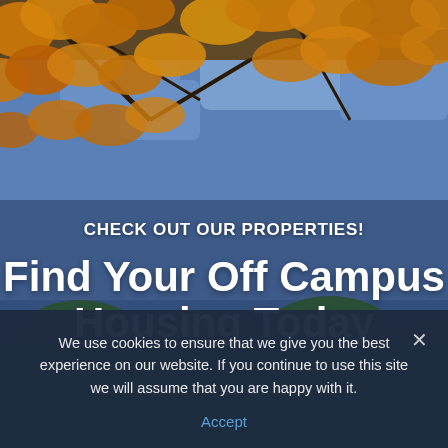[Figure (photo): Autumn trees with golden/orange leaves against a blue sky background, with green trees visible below]
CHECK OUT OUR PROPERTIES!
Find Your Off Campus Housing Today
We use cookies to ensure that we give you the best experience on our website. If you continue to use this site we will assume that you are happy with it.
Accept